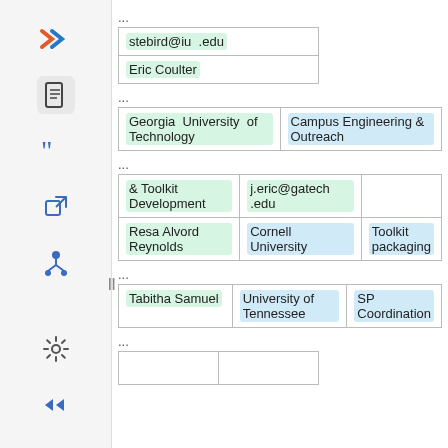[Figure (screenshot): Sidebar with navigation icons including a red X logo, document icon, quote icon, external link icon, hierarchy icon, settings icon, and double-arrow icon]
...
| stebird@iu  .edu |
| Eric Coulter |
...
| Georgia  University  of Technology | Campus Engineering & Outreach |
...
| & Toolkit Development | j.eric@gatech  .edu |  |
| Resa Alvord Reynolds | Cornell University | Toolkit packaging |
...
| Tabitha Samuel | University of Tennessee | SP Coordination |
...
|  |  |